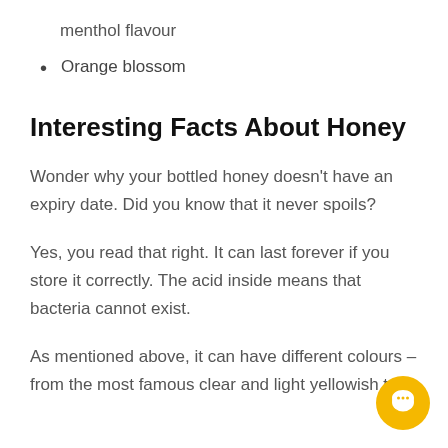menthol flavour
Orange blossom
Interesting Facts About Honey
Wonder why your bottled honey doesn't have an expiry date. Did you know that it never spoils?
Yes, you read that right. It can last forever if you store it correctly. The acid inside means that bacteria cannot exist.
As mentioned above, it can have different colours – from the most famous clear and light yellowish to